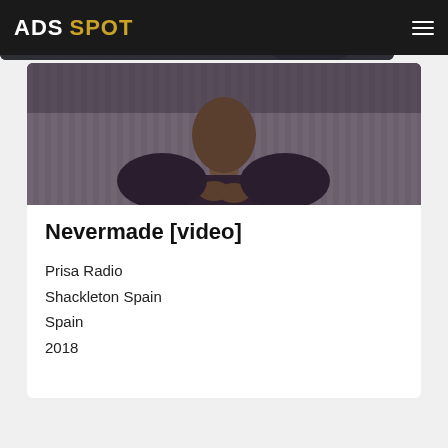ADS SPOT
[Figure (photo): A man in a dark checkered shirt sitting with hands clasped together, viewed from the chest up against a blurred background]
Nevermade [video]
Prisa Radio
Shackleton Spain
Spain
2018
[Figure (photo): Partial view of a dark image with white uppercase text reading 'THE SONG WE MISSED']